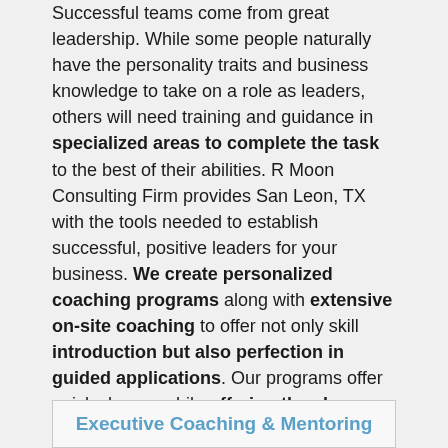Successful teams come from great leadership. While some people naturally have the personality traits and business knowledge to take on a role as leaders, others will need training and guidance in specialized areas to complete the task to the best of their abilities. R Moon Consulting Firm provides San Leon, TX with the tools needed to establish successful, positive leaders for your business. We create personalized coaching programs along with extensive on-site coaching to offer not only skill introduction but also perfection in guided applications. Our programs offer quick change while offering the chance for forward thinking and innovative ideas to promote continued betterment. To schedule your free consultation, contact us at (214) 382-2964 today.
Executive Coaching & Mentoring